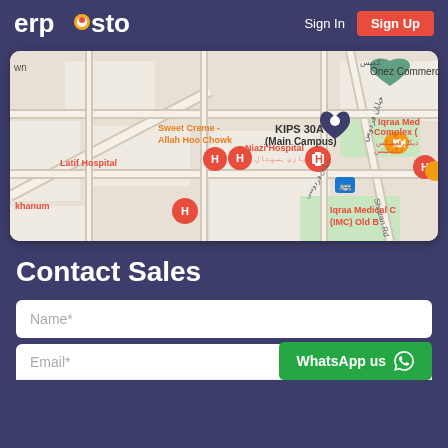[Figure (logo): Erposto logo with colorful dot icon on dark purple background]
Sign In
Sign Up
[Figure (map): Google Maps view showing Latif Hospital, Niazi Hospital, KIPS 30A Main Campus, Iqraa Medical Complex, Sweet Creme - Allah Hoo Chowk, Onez Commerce, Street 5, Shazan Rd, and other locations]
Contact Sales
Name*
Email*
WhatsApp us